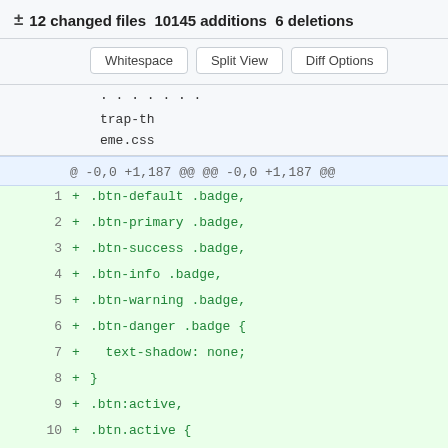± 12 changed files  10145 additions  6 deletions
Whitespace | Split View | Diff Options
trap-theme.css
@ -0,0 +1,187 @@ @@ -0,0 +1,187 @@
1  +  .btn-default .badge,
2  +  .btn-primary .badge,
3  +  .btn-success .badge,
4  +  .btn-info .badge,
5  +  .btn-warning .badge,
6  +  .btn-danger .badge {
7  +    text-shadow: none;
8  +  }
9  +  .btn:active,
10 +  .btn.active {
11 +    background-image: none;
12 +  }
13 +  .btn-default {
14 +    filter: progid:DXImageTransform.Micros